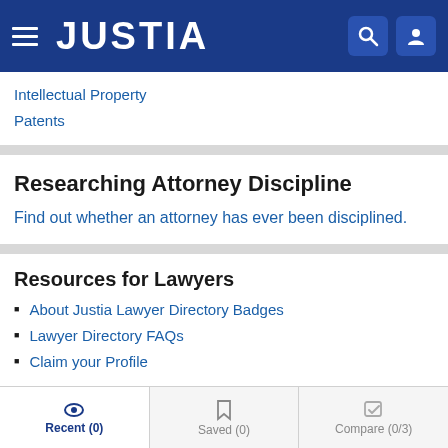JUSTIA
Intellectual Property
Patents
Researching Attorney Discipline
Find out whether an attorney has ever been disciplined.
Resources for Lawyers
About Justia Lawyer Directory Badges
Lawyer Directory FAQs
Claim your Profile
Recent (0) | Saved (0) | Compare (0/3)